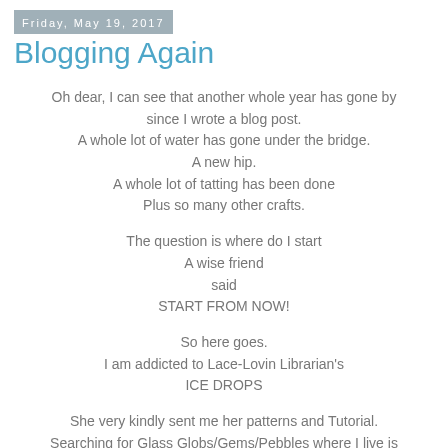Friday, May 19, 2017
Blogging Again
Oh dear, I can see that another whole year has gone by since I wrote a blog post.
A whole lot of water has gone under the bridge.
A new hip.
A whole lot of tatting has been done
Plus so many other crafts.
The question is where do I start
A wise friend
said
START FROM NOW!
So here goes.
I am addicted to Lace-Lovin Librarian's
ICE DROPS
She very kindly sent me her patterns and Tutorial.
Searching for Glass Globs/Gems/Pebbles where I live is